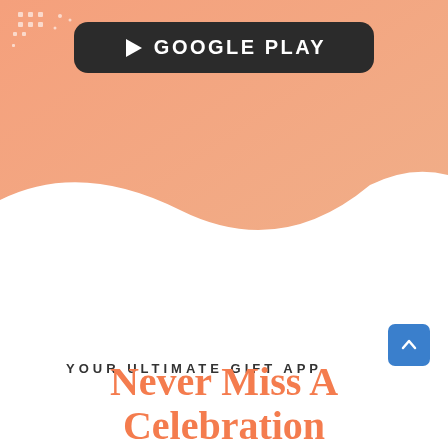[Figure (illustration): Orange/salmon gradient background with a wavy white curve at the bottom creating an organic transition, with small dot/square decorative elements in the top-left corner.]
[Figure (logo): Google Play store button: dark rounded rectangle with a white play triangle icon and the text 'GOOGLE PLAY' in white bold uppercase letters.]
YOUR ULTIMATE GIFT APP
Never Miss A Celebration
[Figure (other): Blue rounded square scroll-to-top button with a white upward chevron arrow.]